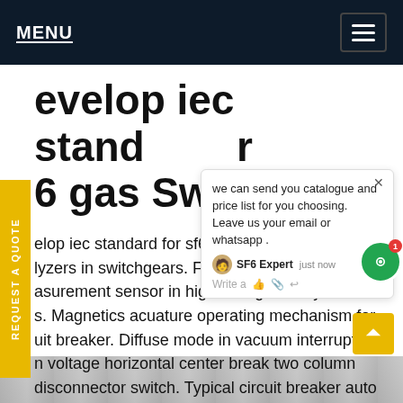MENU
develop iec standard for sf6 gas Sweden
develop iec standard for sf6 gas Sweden quality analyzers in switchgears. Fiber optic measurement sensor in high voltage by. Magnetics acuature operating mechanism for circuit breaker. Diffuse mode in vacuum interrupter. high voltage horizontal center break two column disconnector switch. Typical circuit breaker auto reclose in high voltage substation.Get price
[Figure (screenshot): Chat popup overlay with text: we can send you catalogue and price list for you choosing. Leave us your email or whatsapp. With SF6 Expert label, just now timestamp, and write a / like / attachment icons. Green chat icon with notification badge of 1.]
[Figure (photo): Bottom portion of a product or equipment photo, gray/metallic appearance]